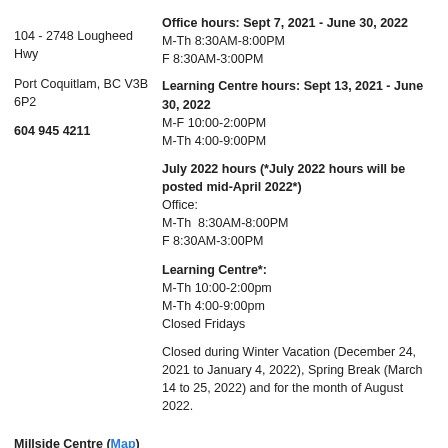104 - 2748 Lougheed Hwy
Port Coquitlam, BC V3B 6P2
604 945 4211
Office hours: Sept 7, 2021 - June 30, 2022
M-Th 8:30AM-8:00PM
F 8:30AM-3:00PM
Learning Centre hours: Sept 13, 2021 - June 30, 2022
M-F 10:00-2:00PM
M-Th 4:00-9:00PM
July 2022 hours (*July 2022 hours will be posted mid-April 2022*)
Office:
M-Th  8:30AM-8:00PM
F 8:30AM-3:00PM
Learning Centre*:
M-Th 10:00-2:00pm
M-Th 4:00-9:00pm
Closed Fridays
Closed during Winter Vacation (December 24, 2021 to January 4, 2022), Spring Break (March 14 to 25, 2022) and for the month of August 2022.
Millside Centre (Map)
Coquitlam Open Learning